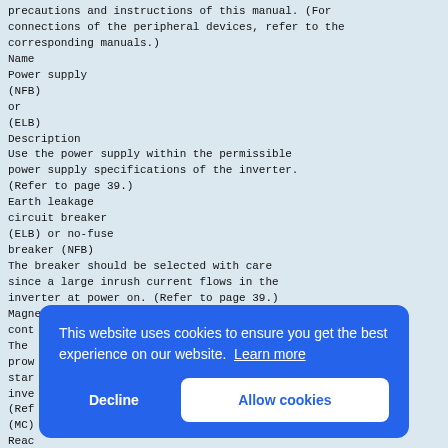with the information in this section as well as the precautions and instructions of this manual. (For connections of the peripheral devices, refer to the corresponding manuals.)
Name
Power supply
(NFB)
or
(ELB)
Description
Use the power supply within the permissible power supply specifications of the inverter. (Refer to page 39.)
Earth leakage
circuit breaker
(ELB) or no-fuse
breaker (NFB)
The breaker should be selected with care since a large inrush current flows in the inverter at power on. (Refer to page 39.)
Magnetic
contactor
The magnetic contactor is provided to stop the inverter safely during power failure and for starting/stopping operation of the inverter. (Refer to page 39.) (MC)
Reactor
AC reactor
(FR-HAL)
DC reactor
(FR-BEL)
[Figure (other): Cookie consent overlay banner with blue background. Text: 'This website uses cookies to ensure you get the best experience on our website. Learn more'. Buttons: 'Decline' and 'Allow cookies'.]